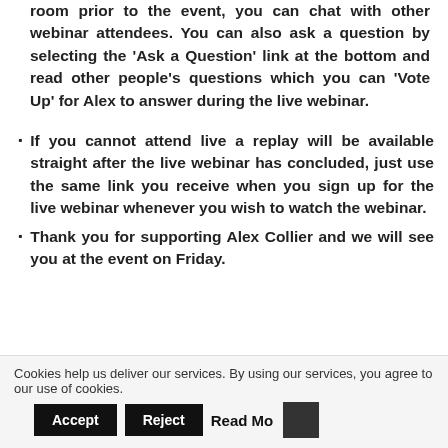room prior to the event, you can chat with other webinar attendees. You can also ask a question by selecting the 'Ask a Question' link at the bottom and read other people's questions which you can 'Vote Up' for Alex to answer during the live webinar.
If you cannot attend live a replay will be available straight after the live webinar has concluded, just use the same link you receive when you sign up for the live webinar whenever you wish to watch the webinar.
Thank you for supporting Alex Collier and we will see you at the event on Friday.
[Figure (other): Blue button labeled CONTINUE READING]
Cookies help us deliver our services. By using our services, you agree to our use of cookies. Accept Reject Read More